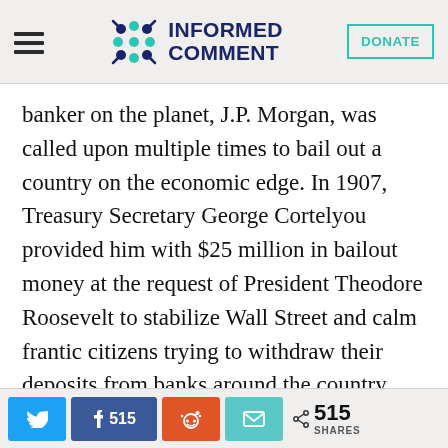Informed Comment | DONATE
banker on the planet, J.P. Morgan, was called upon multiple times to bail out a country on the economic edge. In 1907, Treasury Secretary George Cortelyou provided him with $25 million in bailout money at the request of President Theodore Roosevelt to stabilize Wall Street and calm frantic citizens trying to withdraw their deposits from banks around the country. And this Morgan did – by helping his friends and their companies, while
515 SHARES (Twitter, Facebook 515, Reddit, Email)